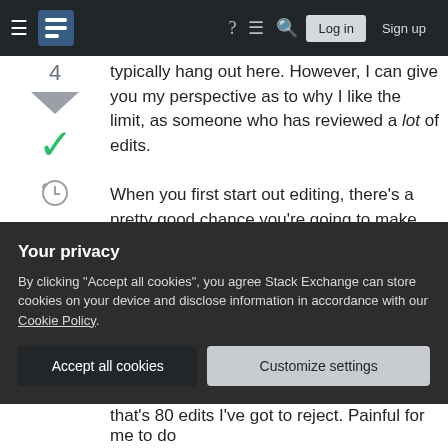Stack Exchange — Log in | Sign up
4
typically hang out here. However, I can give you my perspective as to why I like the limit, as someone who has reviewed a lot of edits.

When you first start out editing, there's a pretty good chance you're going to make mistakes. That's because there's a high "cultural norm" component for what constitutes an acceptable edit. These norms aren't written down, and they (apparently) vary considerably between SE sites. That means that your early edits are likely to have a fairly high reject rate, until you either figure out the norms, or
Your privacy
By clicking "Accept all cookies", you agree Stack Exchange can store cookies on your device and disclose information in accordance with our Cookie Policy.
Accept all cookies
Customize settings
that's 80 edits I've got to reject. Painful for me to do